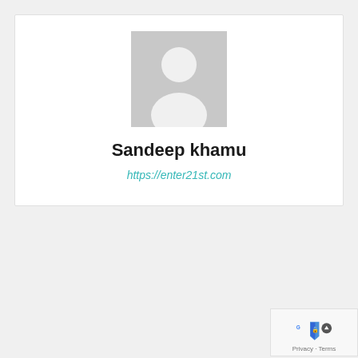[Figure (illustration): Default user avatar placeholder image - grey silhouette of a person on grey background]
Sandeep khamu
https://enter21st.com
[Figure (logo): Google reCAPTCHA badge with scroll-up button and Privacy/Terms links]